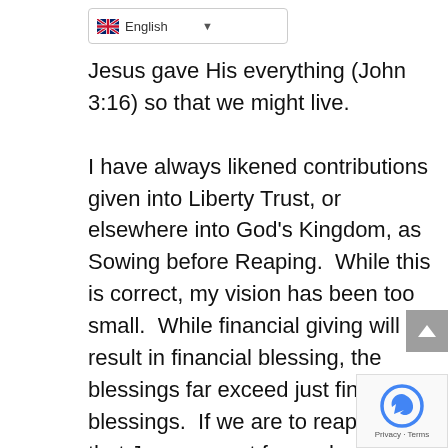English (language selector)
Jesus gave His everything (John 3:16) so that we might live.
I have always likened contributions given into Liberty Trust, or elsewhere into God's Kingdom, as Sowing before Reaping.  While this is correct, my vision has been too small.  While financial giving will result in financial blessing, the blessings far exceed just financial blessings.  If we are to reap the life that Jesus meant for each one of us in John 10:10: “I am come that they may have abundant life”, then we have to lay down our old lives completely and take